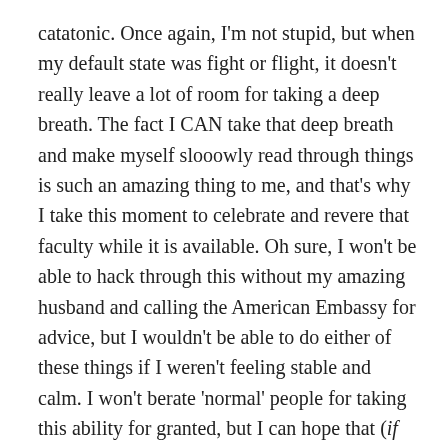catatonic. Once again, I'm not stupid, but when my default state was fight or flight, it doesn't really leave a lot of room for taking a deep breath. The fact I CAN take that deep breath and make myself slooowly read through things is such an amazing thing to me, and that's why I take this moment to celebrate and revere that faculty while it is available. Oh sure, I won't be able to hack through this without my amazing husband and calling the American Embassy for advice, but I wouldn't be able to do either of these things if I weren't feeling stable and calm. I won't berate 'normal' people for taking this ability for granted, but I can hope that (if they read this),